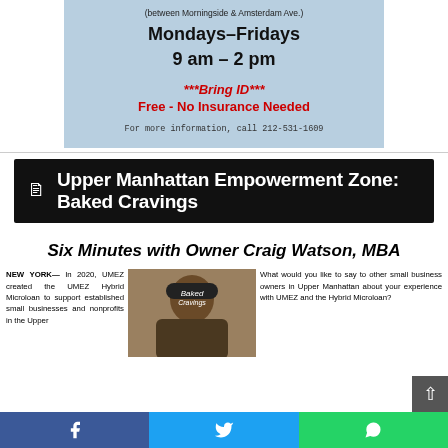(between Morningside & Amsterdam Ave.)
Mondays–Fridays
9 am – 2 pm
***Bring ID***
Free - No Insurance Needed
For more information, call 212-531-1609
Upper Manhattan Empowerment Zone: Baked Cravings
Six Minutes with Owner Craig Watson, MBA
NEW YORK— In 2020, UMEZ created the UMEZ Hybrid Microloan to support established small businesses and nonprofits in the Upper
[Figure (photo): Photo of Craig Watson wearing a Baked Cravings cap]
What would you like to say to other small business owners in Upper Manhattan about your experience with UMEZ and the Hybrid Microloan?